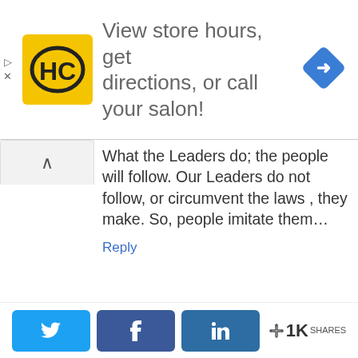[Figure (screenshot): Ad banner with HC logo, text 'View store hours, get directions, or call your salon!', and blue navigation arrow icon on right]
What the Leaders do; the people will follow. Our Leaders do not follow, or circumvent the laws , they make. So, people imitate them…
Reply
Susan says:
November 27, 2014 at 10:55 am
Privacy & Cookies: This site uses cookies. By continuing to use this website, you agree to their use.
To find out more, including how to control cookies, see here: Cookie Policy